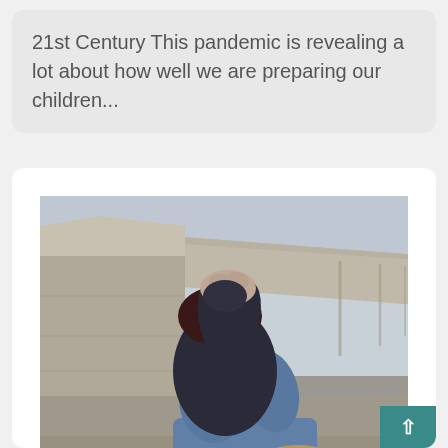21st Century This pandemic is revealing a lot about how well we are preparing our children...
[Figure (photo): A person in a dark hoodie and jeans sitting slumped against a concrete wall outdoors, head down with hands clasped over head, wearing tan work boots. The background shows a long concrete walkway or bridge receding into the distance.]